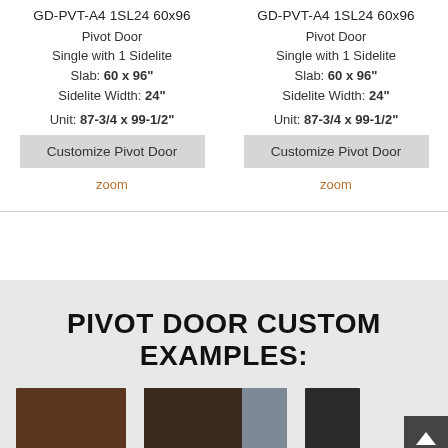GD-PVT-A4 1SL24 60x96
GD-PVT-A4 1SL24 60x96
Pivot Door
Single with 1 Sidelite
Slab: 60 x 96"
Sidelite Width: 24"

Unit: 87-3/4 x 99-1/2"
Pivot Door
Single with 1 Sidelite
Slab: 60 x 96"
Sidelite Width: 24"

Unit: 87-3/4 x 99-1/2"
Customize Pivot Door
zoom
Customize Pivot Door
zoom
PIVOT DOOR CUSTOM EXAMPLES:
[Figure (photo): Dark brown pivot door slab]
[Figure (photo): Dark pivot door with sidelite panel]
[Figure (photo): Dark door partial view]